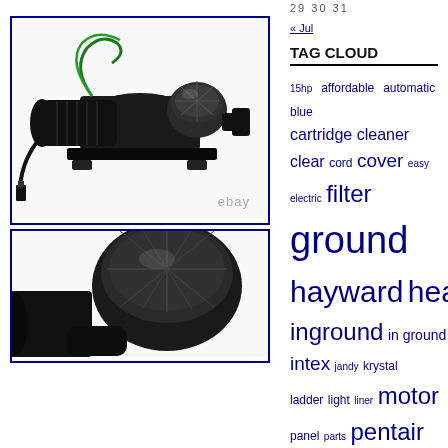29 30 31
« Jul
TAG CLOUD
[Figure (photo): Black pool pump with green wire and power cord, eBay watermark, in blue border box]
[Figure (photo): Black pool pump, partial view, in blue border box]
15hp affordable automatic blue cartridge cleaner clear cord cover easy electric filter ground hayward heater inground in ground intex jandy krystal ladder light liner motor panel parts pentair polaris pool pools pump replacement salt sand solar speed step strainer super